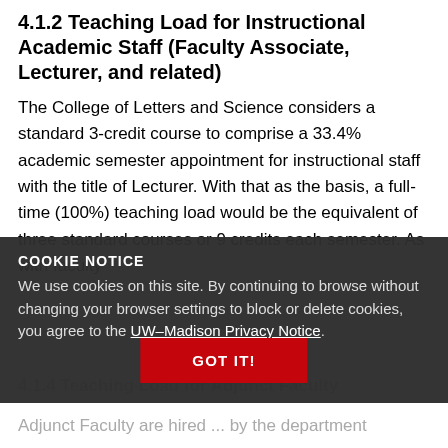4.1.2 Teaching Load for Instructional Academic Staff (Faculty Associate, Lecturer, and related)
The College of Letters and Science considers a standard 3-credit course to comprise a 33.4% academic semester appointment for instructional staff with the title of Lecturer. With that as the basis, a full-time (100%) teaching load would be the equivalent of three standard courses or 9 credits each semester. As with faculty
COOKIE NOTICE
We use cookies on this site. By continuing to browse without changing your browser settings to block or delete cookies, you agree to the UW–Madison Privacy Notice.
GOT IT!